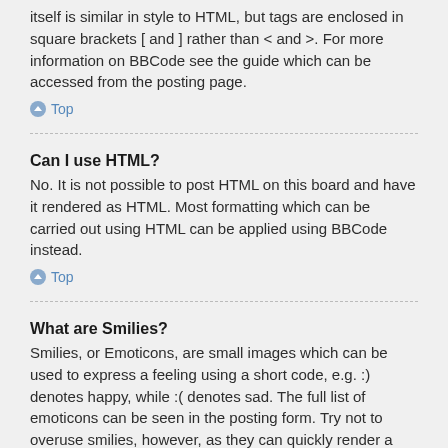itself is similar in style to HTML, but tags are enclosed in square brackets [ and ] rather than < and >. For more information on BBCode see the guide which can be accessed from the posting page.
Top
Can I use HTML?
No. It is not possible to post HTML on this board and have it rendered as HTML. Most formatting which can be carried out using HTML can be applied using BBCode instead.
Top
What are Smilies?
Smilies, or Emoticons, are small images which can be used to express a feeling using a short code, e.g. :) denotes happy, while :( denotes sad. The full list of emoticons can be seen in the posting form. Try not to overuse smilies, however, as they can quickly render a post unreadable and a moderator may edit them out or remove the post altogether. The board administrator may also have set a limit to the number of smilies you may use within a post.
Top